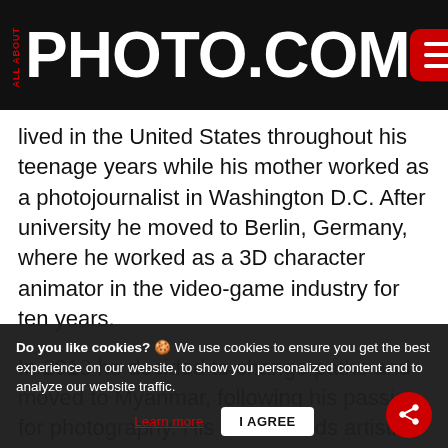ALL ABOUT PHOTO.COM
lived in the United States throughout his teenage years while his mother worked as a photojournalist in Washington D.C. After university he moved to Berlin, Germany, where he worked as a 3D character animator in the video-game industry for ten years.
In 2013 he decided to change paths and moved to Myanmar, following his passion for photography. His work blends artistic and documentary with the aim to tell stories in an original, non-classic way to raise awareness about social and environmental issues.
Do you like cookies? 🍪 We use cookies to ensure you get the best experience on our website, to show you personalized content and to analyze our website traffic. Learn more  I AGREE